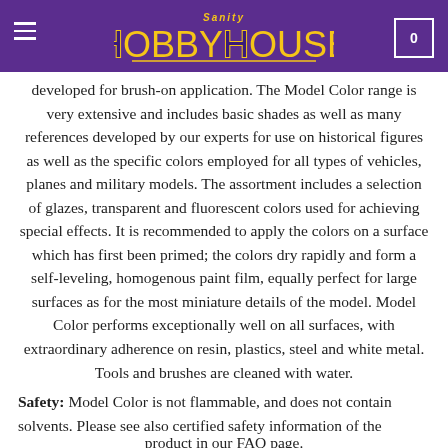Sanity Hobby House
developed for brush-on application. The Model Color range is very extensive and includes basic shades as well as many references developed by our experts for use on historical figures as well as the specific colors employed for all types of vehicles, planes and military models. The assortment includes a selection of glazes, transparent and fluorescent colors used for achieving special effects. It is recommended to apply the colors on a surface which has first been primed; the colors dry rapidly and form a self-leveling, homogenous paint film, equally perfect for large surfaces as for the most miniature details of the model. Model Color performs exceptionally well on all surfaces, with extraordinary adherence on resin, plastics, steel and white metal. Tools and brushes are cleaned with water.
Safety: Model Color is not flammable, and does not contain solvents. Please see also certified safety information of the product in our FAQ page.